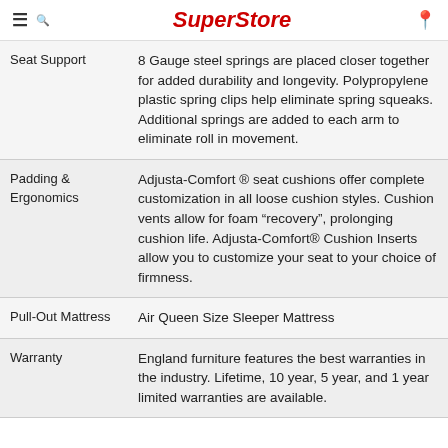SuperStore
| Feature | Description |
| --- | --- |
| Seat Support | 8 Gauge steel springs are placed closer together for added durability and longevity. Polypropylene plastic spring clips help eliminate spring squeaks. Additional springs are added to each arm to eliminate roll in movement. |
| Padding & Ergonomics | Adjusta-Comfort ® seat cushions offer complete customization in all loose cushion styles. Cushion vents allow for foam “recovery”, prolonging cushion life. Adjusta-Comfort® Cushion Inserts allow you to customize your seat to your choice of firmness. |
| Pull-Out Mattress | Air Queen Size Sleeper Mattress |
| Warranty | England furniture features the best warranties in the industry. Lifetime, 10 year, 5 year, and 1 year limited warranties are available. |